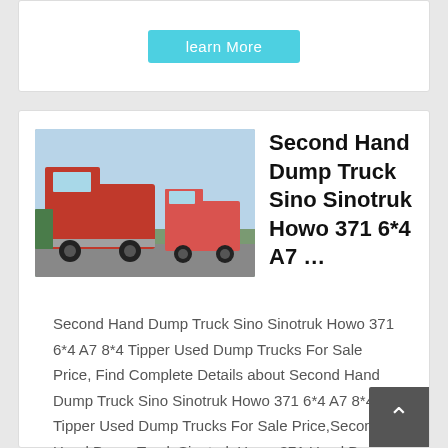[Figure (screenshot): A 'Learn More' button in cyan/teal color at the top of the page]
[Figure (photo): Photo of red Sinotruk HOWO dump trucks parked outdoors]
Second Hand Dump Truck Sino Sinotruk Howo 371 6*4 A7 …
Second Hand Dump Truck Sino Sinotruk Howo 371 6*4 A7 8*4 Tipper Used Dump Trucks For Sale Price, Find Complete Details about Second Hand Dump Truck Sino Sinotruk Howo 371 6*4 A7 8*4 Tipper Used Dump Trucks For Sale Price,Second Hand Dump Truck,Sinotruk Howo 371 Used Dump Trucks,Howo 371 Used